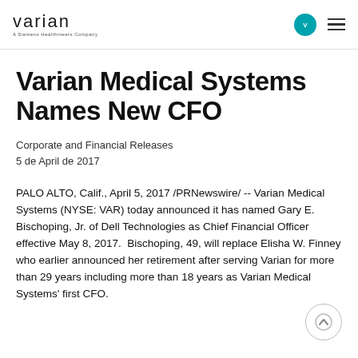varian — A Siemens Healthineers Company
Varian Medical Systems Names New CFO
Corporate and Financial Releases
5 de April de 2017
PALO ALTO, Calif., April 5, 2017 /PRNewswire/ -- Varian Medical Systems (NYSE: VAR) today announced it has named Gary E. Bischoping, Jr. of Dell Technologies as Chief Financial Officer effective May 8, 2017.  Bischoping, 49, will replace Elisha W. Finney who earlier announced her retirement after serving Varian for more than 29 years including more than 18 years as Varian Medical Systems' first CFO.